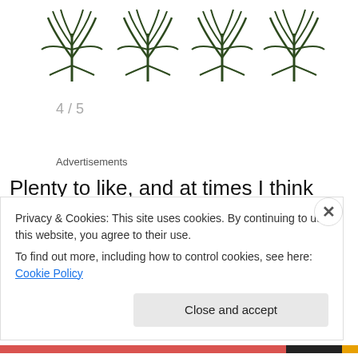[Figure (illustration): Four stylized dark green sugar cane or palm plant illustrations in a row]
4 / 5
Advertisements
Plenty to like, and at times I think that I prefer this to Batch #1……at times I don't though. Either way, at just shy of £37 its definitely worth picking up.
Privacy & Cookies: This site uses cookies. By continuing to use this website, you agree to their use.
To find out more, including how to control cookies, see here: Cookie Policy
Close and accept